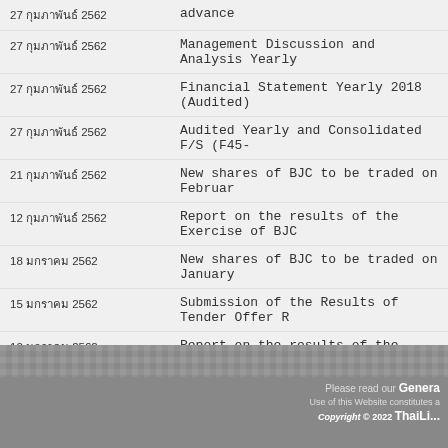27 กุมภาพันธ์ 2562 | advance
27 กุมภาพันธ์ 2562 | Management Discussion and Analysis Yearly
27 กุมภาพันธ์ 2562 | Financial Statement Yearly 2018 (Audited)
27 กุมภาพันธ์ 2562 | Audited Yearly and Consolidated F/S (F45-
21 กุมภาพันธ์ 2562 | New shares of BJC to be traded on Februar
12 กุมภาพันธ์ 2562 | Report on the results of the Exercise of BJC
18 มกราคม 2562 | New shares of BJC to be traded on January
15 มกราคม 2562 | Submission of the Results of Tender Offer R
10 มกราคม 2562 | Report on the results of the Exercise of BJC
08 มกราคม 2562 | Submission of Tender Offer for the Securitie
07 มกราคม 2562 | Submission of the Report of the Preliminary
Please read our Genera
Use of this Website constitutes a
Copyright © 2022 ThaiLi...